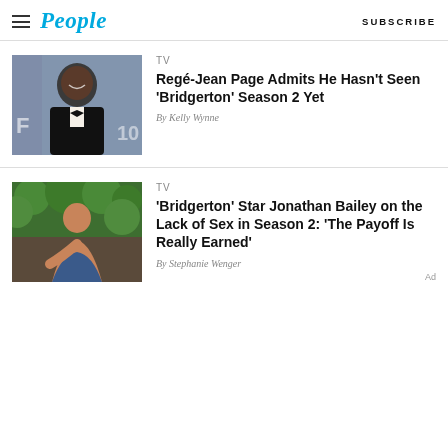People — SUBSCRIBE
[Figure (photo): Man in black tuxedo smiling at red carpet event]
TV
Regé-Jean Page Admits He Hasn't Seen 'Bridgerton' Season 2 Yet
By Kelly Wynne
[Figure (photo): Shirtless man sitting outdoors with greenery behind him]
TV
'Bridgerton' Star Jonathan Bailey on the Lack of Sex in Season 2: 'The Payoff Is Really Earned'
By Stephanie Wenger
Ad